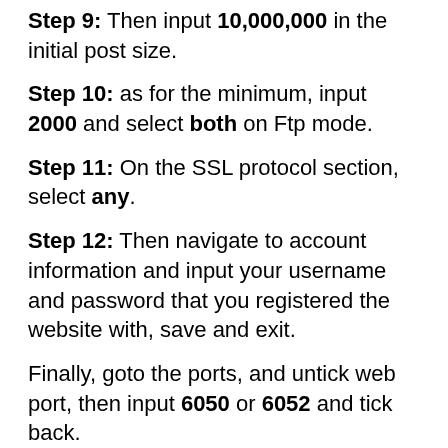Step 9: Then input 10,000,000 in the initial post size.
Step 10: as for the minimum, input 2000 and select both on Ftp mode.
Step 11: On the SSL protocol section, select any.
Step 12: Then navigate to account information and input your username and password that you registered the website with, save and exit.
Finally, goto the ports, and untick web port, then input 6050 or 6052 and tick back.
==>Configure your browser like this
Proxy: 127.0.0.1 and Port 6050 or 6052 depending